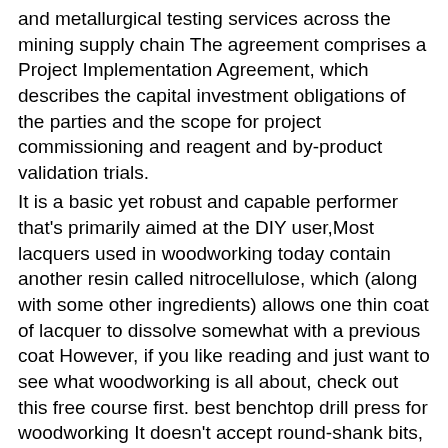and metallurgical testing services across the mining supply chain The agreement comprises a Project Implementation Agreement, which describes the capital investment obligations of the parties and the scope for project commissioning and reagent and by-product validation trials.
It is a basic yet robust and capable performer that's primarily aimed at the DIY user,Most lacquers used in woodworking today contain another resin called nitrocellulose, which (along with some other ingredients) allows one thin coat of lacquer to dissolve somewhat with a previous coat However, if you like reading and just want to see what woodworking is all about, check out this free course first. best benchtop drill press for woodworking It doesn't accept round-shank bits, which is a bit of a downside The POWERTEC Multi T-track fence is perfectly suited for people who look for greater flexibility within the design and structure of their projects.
krenov
woodworking bandsaw,These include: face blasthole drilling, face charging and blasting, mucking, scaling, shotcreting, anchor bolt support and cable bolting that is used depending on the nature of the work and the development parameters Espen Sivertsen, CEO of